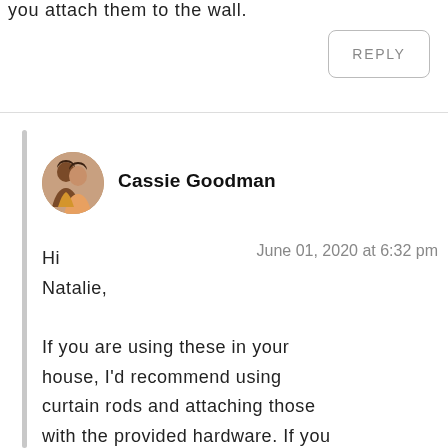you attach them to the wall.
REPLY
[Figure (photo): Avatar photo of two women, Cassie Goodman profile picture]
Cassie Goodman
June 01, 2020 at 6:32 pm
Hi Natalie,

If you are using these in your house, I'd recommend using curtain rods and attaching those with the provided hardware. If you